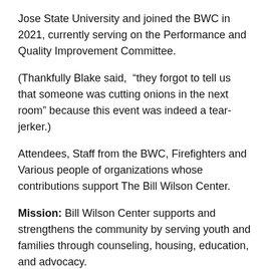Jose State University and joined the BWC in 2021, currently serving on the Performance and Quality Improvement Committee.
(Thankfully Blake said, “they forgot to tell us that someone was cutting onions in the next room” because this event was indeed a tear-jerker.)
Attendees, Staff from the BWC, Firefighters and Various people of organizations whose contributions support The Bill Wilson Center.
Mission: Bill Wilson Center supports and strengthens the community by serving youth and families through counseling, housing, education, and advocacy.
Vision: We are working to prevent poverty in the next generation by connecting youth and families to education, employment, housing, and positive relationships. We...